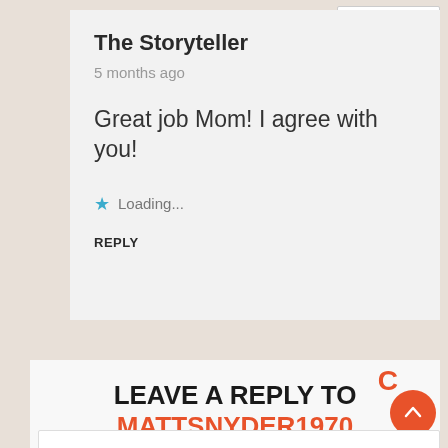[Figure (screenshot): Language selector dropdown showing English with US flag]
The Storyteller
5 months ago
Great job Mom! I agree with you!
★ Loading...
REPLY
LEAVE A REPLY TO MATTSNYDER1970